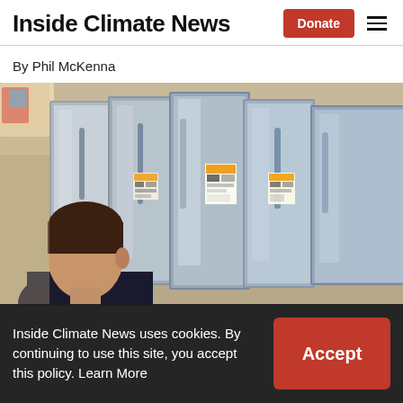Inside Climate News
By Phil McKenna
[Figure (photo): A man looking at stainless steel refrigerators in an appliance store, with energy guide stickers visible on the appliances.]
Inside Climate News uses cookies. By continuing to use this site, you accept this policy. Learn More